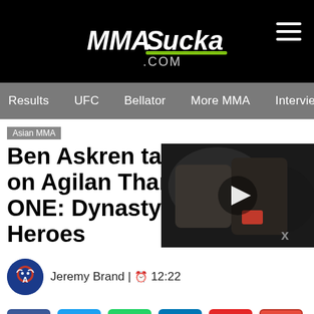MMASucka.com
Results | UFC | Bellator | More MMA | Interviews | S
Asian MMA
Ben Askren takes on Agilan Thani at ONE: Dynasty of Heroes
Jeremy Brand | 12:22
[Figure (photo): Video thumbnail showing two female UFC fighters, one throwing a punch, with a play button overlay]
[Figure (infographic): Social share buttons: Facebook, Twitter, WhatsApp, LinkedIn, Flipboard, Email]